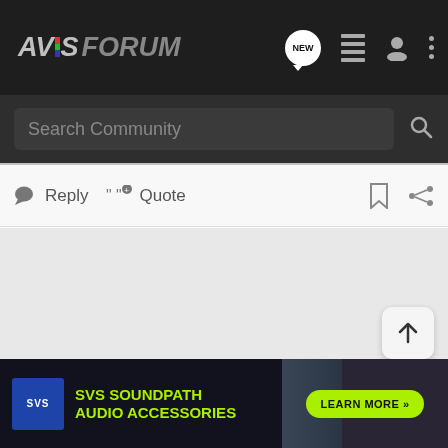[Figure (screenshot): AVS Forum website header navigation bar with logo, NEW posts button, list icon, user icon, and more options icon]
[Figure (screenshot): Search Community search bar on dark background]
[Figure (screenshot): Reply and Quote action buttons bar with bookmark and share icons on the right]
[Figure (screenshot): Large empty gray content area with scroll-to-top arrow button at bottom right]
[Figure (screenshot): SVS SoundPath Audio Accessories advertisement banner with Learn More button]